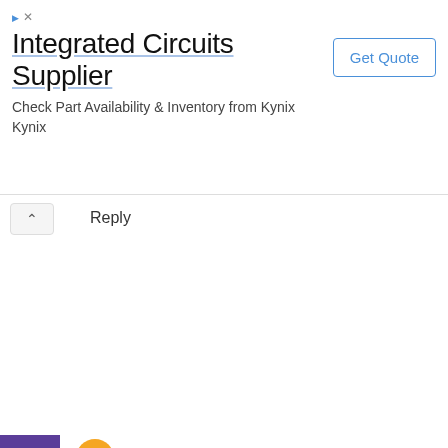[Figure (other): Advertisement banner for Integrated Circuits Supplier - Kynix. Shows title 'Integrated Circuits Supplier', subtitle 'Check Part Availability & Inventory from Kynix Kynix', and a 'Get Quote' button.]
Reply
cole-finch November 4, 2020 at 3:18 AM
Plants and people developed under a similar light, origin people and plants utilize this light in a https://www.insignis.ro/corpuri-de-iluminat/
Reply
Amelia Mia November 27, 2020 at 11:07 AM
Each excursion gathers 1,000,000 terawatt-hours, enou human and conscious robots in the nearby planetary grou entryway chandeliers
Reply